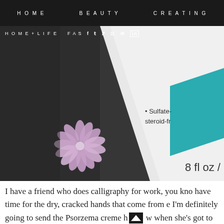HOME   BEAUTY   CREATING
HOME+LIFE   FASHION   f  t  P  (instagram)  (mail)  in
[Figure (photo): Close-up photo of a shampoo bottle label reading 'Sulfate-free, steroid-free' with a teal stripe and '8 fl oz' text, next to a pink flower on a dark background]
I have a friend who does calligraphy for work, you kno have time for the dry, cracked hands that come from e I'm definitely going to send the Psorzema creme h w when she's got to work and there won't be anything s